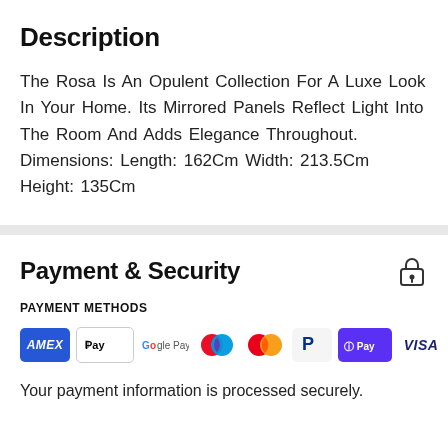Description
The Rosa Is An Opulent Collection For A Luxe Look In Your Home. Its Mirrored Panels Reflect Light Into The Room And Adds Elegance Throughout. Dimensions: Length: 162Cm Width: 213.5Cm Height: 135Cm
Payment & Security
PAYMENT METHODS
[Figure (logo): Payment method icons: American Express, Apple Pay, Google Pay, Maestro, Mastercard, PayPal, Shop Pay, Visa]
Your payment information is processed securely.